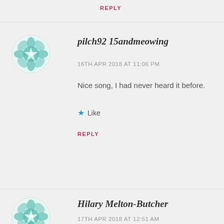REPLY
[Figure (illustration): Teal geometric mandala/floral avatar icon for pilch92 15andmeowing]
pilch92 15andmeowing
16TH APR 2018 AT 11:06 PM
Nice song, I had never heard it before.
Like
REPLY
[Figure (illustration): Teal geometric mandala/floral avatar icon for Hilary Melton-Butcher]
Hilary Melton-Butcher
17TH APR 2018 AT 12:51 AM